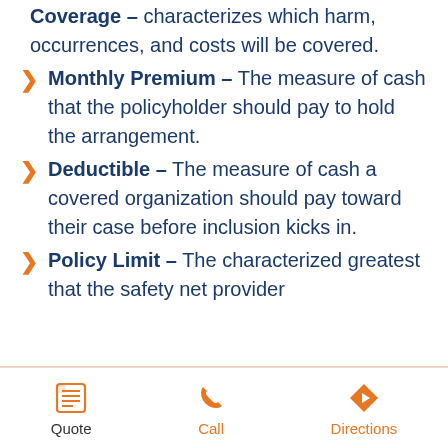Coverage – characterizes which harm, occurrences, and costs will be covered.
Monthly Premium – The measure of cash that the policyholder should pay to hold the arrangement.
Deductible – The measure of cash a covered organization should pay toward their case before inclusion kicks in.
Policy Limit – The characterized greatest that the safety net provider
Quote  Call  Directions